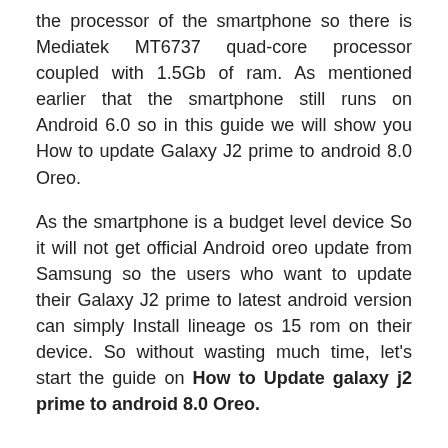the processor of the smartphone so there is Mediatek MT6737 quad-core processor coupled with 1.5Gb of ram. As mentioned earlier that the smartphone still runs on Android 6.0 so in this guide we will show you How to update Galaxy J2 prime to android 8.0 Oreo.
As the smartphone is a budget level device So it will not get official Android oreo update from Samsung so the users who want to update their Galaxy J2 prime to latest android version can simply Install lineage os 15 rom on their device. So without wasting much time, let's start the guide on How to Update galaxy j2 prime to android 8.0 Oreo.